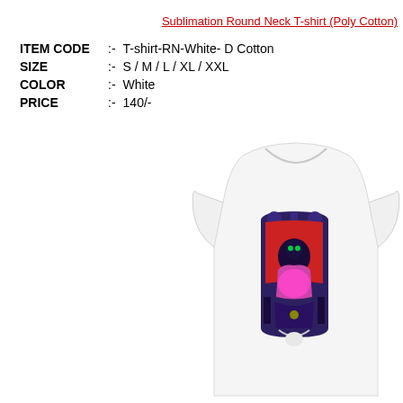Sublimation Round Neck T-shirt (Poly Cotton)
ITEM CODE :- T-shirt-RN-White- D Cotton
SIZE :- S / M / L / XL / XXL
COLOR :- White
PRICE :- 140/-
[Figure (photo): White sublimation round neck t-shirt displayed on a model form, featuring a colorful gothic/fantasy graphic print with a character in purple and red tones on the chest area.]